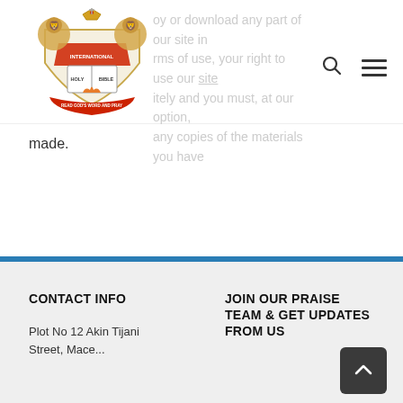[Figure (logo): Coat of arms logo with two lions holding a shield with Holy Bible, crown on top, flames, and banner reading HOLY BIBLE / READ GOD'S WORD AND PRAY]
oy or download any part of our site in rms of use, your right to use our site itely and you must, at our option, any copies of the materials you have made.
CONTACT INFO
Plot No 12 Akin Tijani Street, Mace...
JOIN OUR PRAISE TEAM & GET UPDATES FROM US